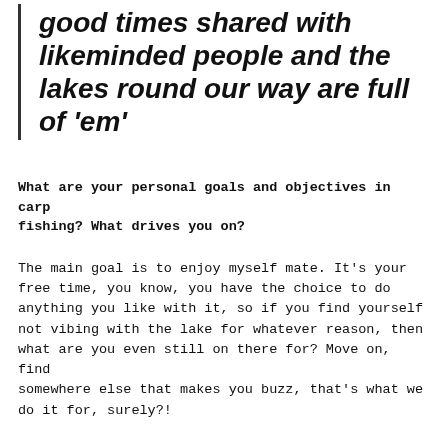good times shared with likeminded people and the lakes round our way are full of 'em'
What are your personal goals and objectives in carp fishing? What drives you on?
The main goal is to enjoy myself mate. It's your free time, you know, you have the choice to do anything you like with it, so if you find yourself not vibing with the lake for whatever reason, then what are you even still on there for? Move on, find somewhere else that makes you buzz, that's what we do it for, surely?!